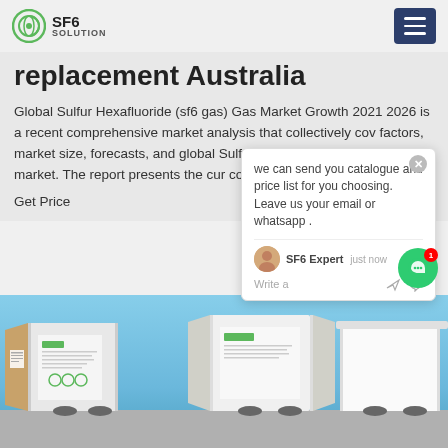SF6 SOLUTION
replacement Australia
Global Sulfur Hexafluoride (sf6 gas) Gas Market Growth 2021 2026 is a recent comprehensive market analysis that collectively covers factors, market size, forecasts, and global Sulfur Hexafluoride (Sulfr hex) market. The report presents the current conditions and growth prospects
Get Price
[Figure (photo): White shipping containers or trucks with documents/logos visible, under a blue sky]
[Figure (other): Chat popup overlay with message: we can send you catalogue and price list for you choosing. Leave us your email or whatsapp. SF6 Expert, just now. Write a message field with like and attachment icons.]